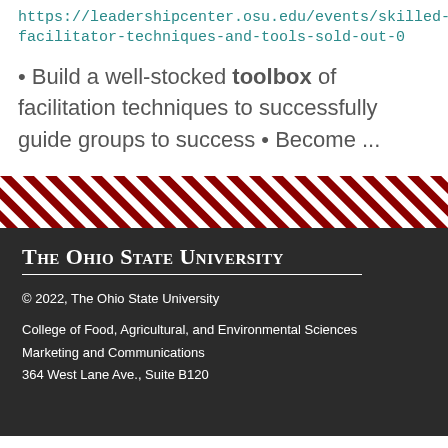https://leadershipcenter.osu.edu/events/skilled-facilitator-techniques-and-tools-sold-out-0
Build a well-stocked toolbox of facilitation techniques to successfully guide groups to success • Become ...
[Figure (illustration): Diagonal red and white stripe decorative band]
The Ohio State University
© 2022, The Ohio State University
College of Food, Agricultural, and Environmental Sciences
Marketing and Communications
364 West Lane Ave., Suite B120